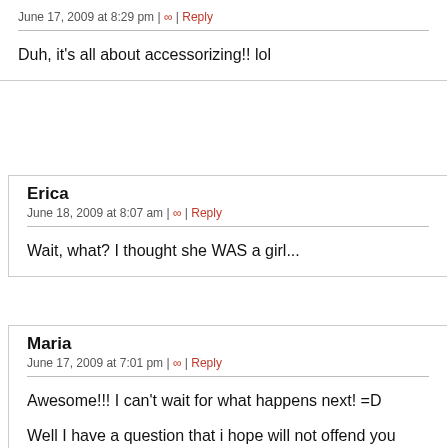June 17, 2009 at 8:29 pm | ∞ | Reply
Duh, it's all about accessorizing!! lol
Erica
June 18, 2009 at 8:07 am | ∞ | Reply
Wait, what? I thought she WAS a girl...
Maria
June 17, 2009 at 7:01 pm | ∞ | Reply
Awesome!!! I can't wait for what happens next! =D

Well I have a question that i hope will not offend you some help my confusion. My friend not too long ago told me abo every time we go to talk about....I don't know what pronou and stupid but one place it says you are a male, other spot what to believe. So what are you a he, a she, both, neither. you please tell me something. lol Calling you a he/she or it and but my goofy mind out of misery. he he he